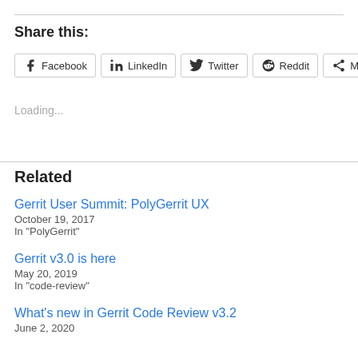Share this:
Facebook  LinkedIn  Twitter  Reddit  More
Loading...
Related
Gerrit User Summit: PolyGerrit UX
October 19, 2017
In "PolyGerrit"
Gerrit v3.0 is here
May 20, 2019
In "code-review"
What's new in Gerrit Code Review v3.2
June 2, 2020